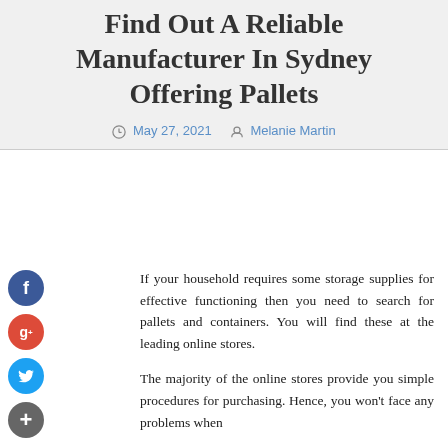Find Out A Reliable Manufacturer In Sydney Offering Pallets
May 27, 2021   Melanie Martin
If your household requires some storage supplies for effective functioning then you need to search for pallets and containers. You will find these at the leading online stores.
The majority of the online stores provide you simple procedures for purchasing. Hence, you won't face any problems when